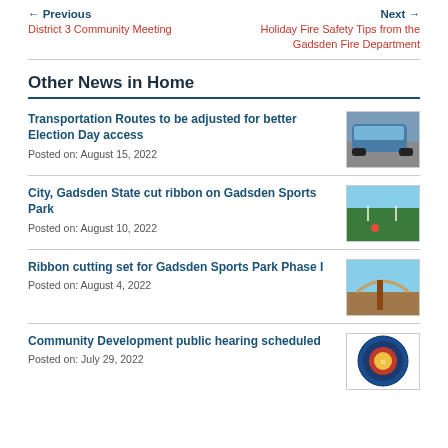← Previous | District 3 Community Meeting    Next → | Holiday Fire Safety Tips from the Gadsden Fire Department
Other News in Home
Transportation Routes to be adjusted for better Election Day access
Posted on: August 15, 2022
[Figure (photo): Photo of a blue city bus on a road]
City, Gadsden State cut ribbon on Gadsden Sports Park
Posted on: August 10, 2022
[Figure (photo): Photo of a soccer field with a pink ball]
Ribbon cutting set for Gadsden Sports Park Phase I
Posted on: August 4, 2022
[Figure (photo): Photo of Gadsden Sports Park entrance with sky]
Community Development public hearing scheduled
Posted on: July 29, 2022
[Figure (logo): Circular seal/logo of the City of Gadsden]